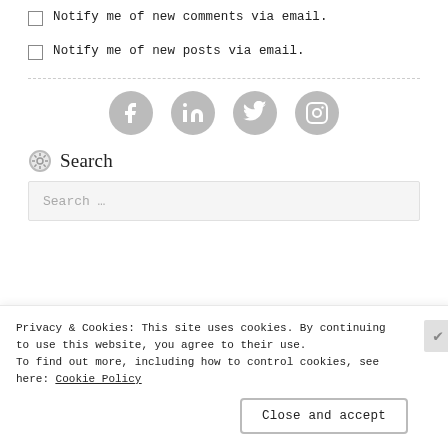☐ Notify me of new comments via email.
☐ Notify me of new posts via email.
[Figure (infographic): Four gray circular social media icons: Facebook, LinkedIn, Twitter, Instagram]
Search
Search …
Privacy & Cookies: This site uses cookies. By continuing to use this website, you agree to their use.
To find out more, including how to control cookies, see here: Cookie Policy
Close and accept